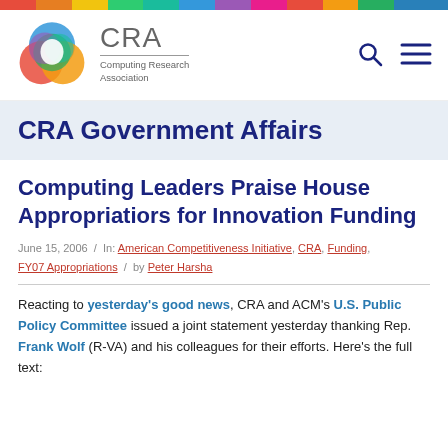[Figure (logo): CRA Computing Research Association logo with colorful circular icon and text]
CRA Government Affairs
Computing Leaders Praise House Appropriatiors for Innovation Funding
June 15, 2006 / In: American Competitiveness Initiative, CRA, Funding, FY07 Appropriations / by Peter Harsha
Reacting to yesterday's good news, CRA and ACM's U.S. Public Policy Committee issued a joint statement yesterday thanking Rep. Frank Wolf (R-VA) and his colleagues for their efforts. Here's the full text: